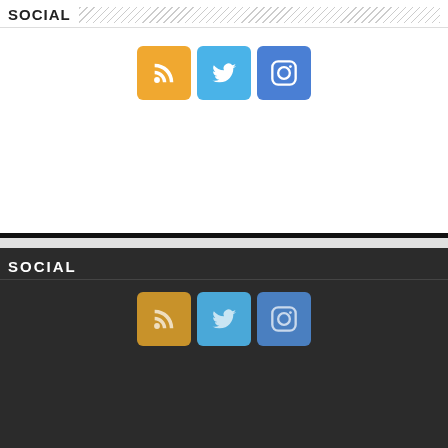SOCIAL
[Figure (infographic): Three social media icon buttons: RSS (orange), Twitter (light blue), Instagram (blue)]
SOCIAL
[Figure (infographic): Three social media icon buttons (dark theme): RSS (dark orange), Twitter (medium blue), Instagram (medium blue)]
Powered by Poli Alert (a subsidiary of Baller Alert Inc.)
© Copyright 2022, All Rights Reserved